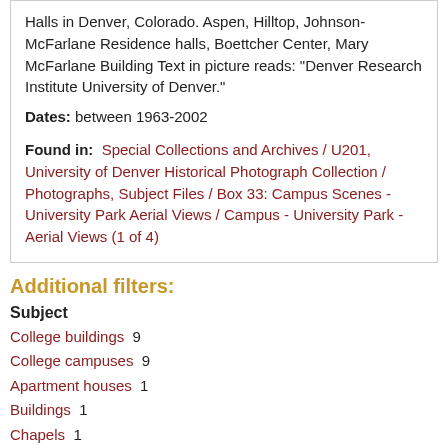Aerial View of the University of Denver's Residence Halls in Denver, Colorado. Aspen, Hilltop, Johnson-McFarlane Residence halls, Boettcher Center, Mary McFarlane Building Text in picture reads: "Denver Research Institute University of Denver."
Dates: between 1963-2002
Found in: Special Collections and Archives / U201, University of Denver Historical Photograph Collection / Photographs, Subject Files / Box 33: Campus Scenes - University Park Aerial Views / Campus - University Park - Aerial Views (1 of 4)
Additional filters:
Subject
College buildings  9
College campuses  9
Apartment houses  1
Buildings  1
Chapels  1
∨ more